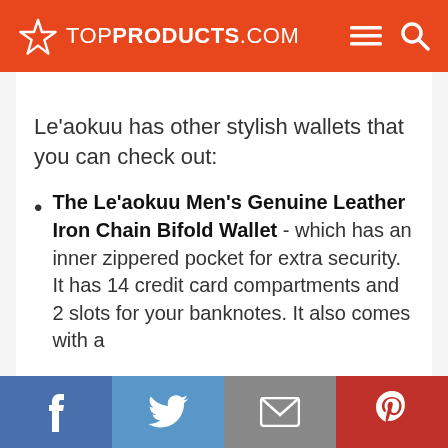TOP PRODUCTS.COM
Le'aokuu has other stylish wallets that you can check out:
The Le'aokuu Men's Genuine Leather Iron Chain Bifold Wallet - which has an inner zippered pocket for extra security. It has 14 credit card compartments and 2 slots for your banknotes. It also comes with a
Facebook | Twitter | Email | Pinterest